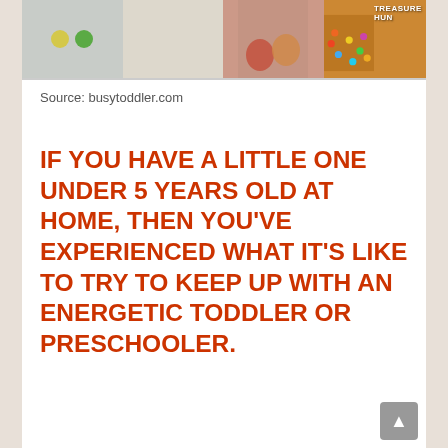[Figure (photo): Strip of four images at top: robot face with yellow and green eyes, plain background, colorful bowls/cups, treasure hunt colorful beads with text overlay 'TREASURE HUN']
Source: busytoddler.com
IF YOU HAVE A LITTLE ONE UNDER 5 YEARS OLD AT HOME, THEN YOU'VE EXPERIENCED WHAT IT'S LIKE TO TRY TO KEEP UP WITH AN ENERGETIC TODDLER OR PRESCHOOLER.